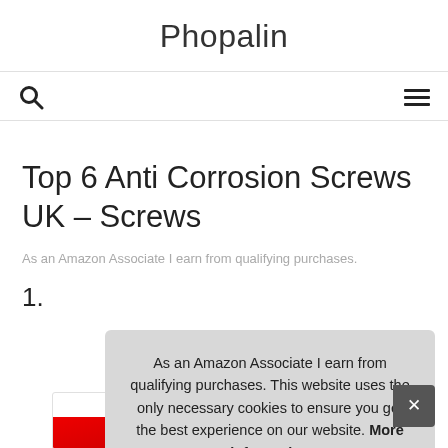Phopalin
Top 6 Anti Corrosion Screws UK – Screws
As an Amazon Associate I earn from qualifying purchases.
1.
As an Amazon Associate I earn from qualifying purchases. This website uses the only necessary cookies to ensure you get the best experience on our website. More information
[Figure (photo): Red product image at bottom of page, partially visible]